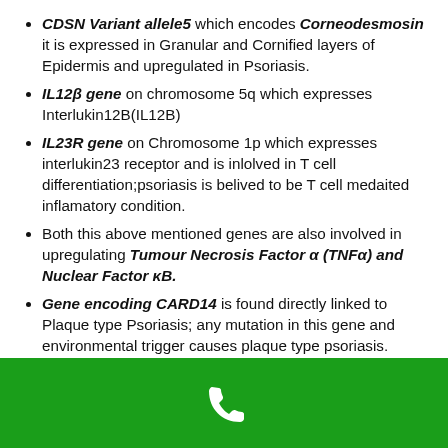CDSN Variant allele5 which encodes Corneodesmosin it is expressed in Granular and Cornified layers of Epidermis and upregulated in Psoriasis.
IL12β gene on chromosome 5q which expresses Interlukin12B(IL12B)
IL23R gene on Chromosome 1p which expresses interlukin23 receptor and is inlolved in T cell differentiation;psoriasis is belived to be T cell medaited inflamatory condition.
Both this above mentioned genes are also involved in upregulating Tumour Necrosis Factor α (TNFα) and Nuclear Factor κB.
Gene encoding CARD14 is found directly linked to Plaque type Psoriasis; any mutation in this gene and environmental trigger causes plaque type psoriasis.
[Figure (illustration): Green footer bar with a white telephone/phone handset icon centered on it.]